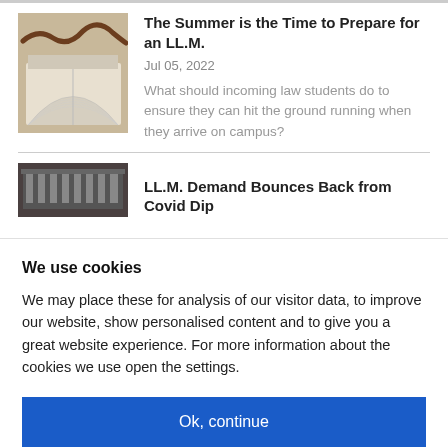[Figure (photo): Open book with a rope or vine on top, warm tones]
The Summer is the Time to Prepare for an LL.M.
Jul 05, 2022
What should incoming law students do to ensure they can hit the ground running when they arrive on campus?
[Figure (photo): Building with columns, dark toned image]
LL.M. Demand Bounces Back from Covid Dip
We use cookies
We may place these for analysis of our visitor data, to improve our website, show personalised content and to give you a great website experience. For more information about the cookies we use open the settings.